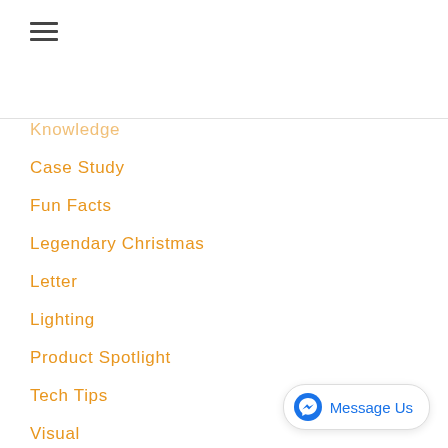[Figure (other): Hamburger menu icon (three horizontal lines)]
Knowledge
Case Study
Fun Facts
Legendary Christmas
Letter
Lighting
Product Spotlight
Tech Tips
Visual
Volunteers
[Figure (other): Facebook Messenger 'Message Us' chat button in bottom right corner]